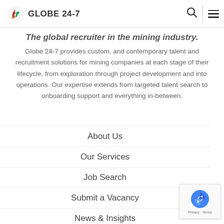Globe 24-7 [logo] [search] [menu]
The global recruiter in the mining industry.
Globe 24-7 provides custom, and contemporary talent and recruitment solutions for mining companies at each stage of their lifecycle, from exploration through project development and into operations. Our expertise extends from targeted talent search to onboarding support and everything in-between.
About Us
Our Services
Job Search
Submit a Vacancy
News & Insights
Case Studies